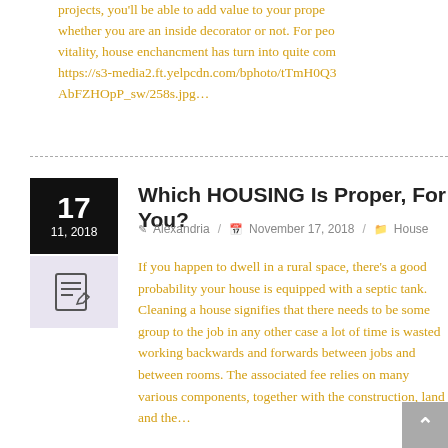projects, you'll be able to add value to your property whether you are an inside decorator or not. For people vitality, house enchancment has turn into quite comm... https://s3-media2.ft.yelpcdn.com/bphoto/tTmH0Q3... AbFZHOpP_sw/258s.jpg…
Which HOUSING Is Proper, For You?
Alexandria / November 17, 2018 / House
If you happen to dwell in a rural space, there's a good probability your house is equipped with a septic tank. Cleaning a house signifies that there needs to be some group to the job in any other case a lot of time is wasted working backwards and forwards between jobs and between rooms. The associated fee relies on many various components, together with the construction, land and the…